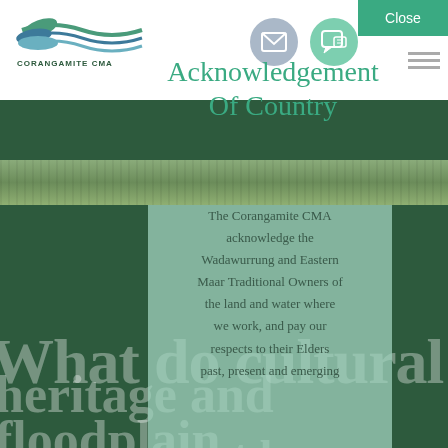[Figure (logo): Corangamite CMA logo with wave/river imagery and text 'CORANGAMITE CMA']
Acknowledgement Of Country
[Figure (photo): Landscape photo strip showing vegetation/wetland scene]
The Corangamite CMA acknowledge the Wadawurrung and Eastern Maar Traditional Owners of the land and water where we work, and pay our respects to their Elders past, present and emerging
[Figure (infographic): Watermark text overlay reading 'What do cultural heritage and floodplain management have' in large white semi-transparent font]